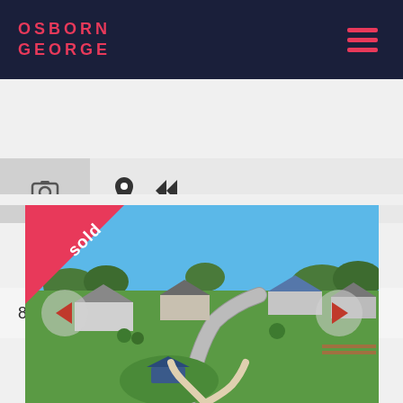OSBORN GEORGE
[Figure (screenshot): Toolbar with camera icon, location pin icon, and rewind/back icon on grey background]
817/20 Milkhouse Drive, Raymond Terrace
[Figure (photo): Aerial/street view photo of residential suburb Raymond Terrace showing houses, roads, park with playground, green grass and trees under blue sky. Has a pink 'sold' triangle banner in top-left corner, and left/right navigation arrows.]